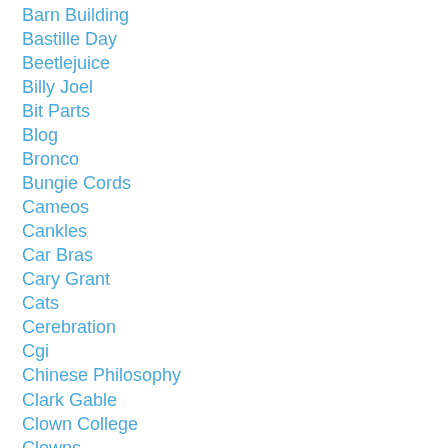Barn Building
Bastille Day
Beetlejuice
Billy Joel
Bit Parts
Blog
Bronco
Bungie Cords
Cameos
Cankles
Car Bras
Cary Grant
Cats
Cerebration
Cgi
Chinese Philosophy
Clark Gable
Clown College
Clowns
Colin Firth
Commercials